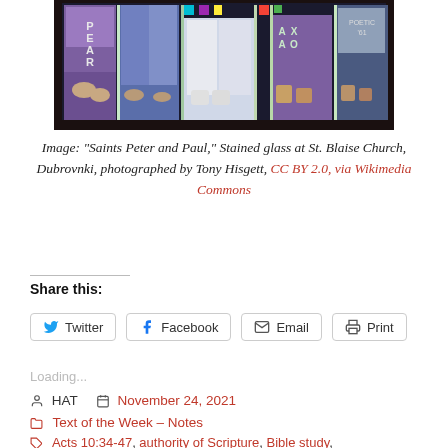[Figure (photo): Stained glass artwork showing Saints Peter and Paul — colorful panels with figures' feet visible, text panels reading BEAR and AXAO, various geometric colored glass pieces in blues, purples, greens, reds, and yellows against a dark border.]
Image: “Saints Peter and Paul,” Stained glass at St. Blaise Church, Dubrovnki, photographed by Tony Hisgett, CC BY 2.0, via Wikimedia Commons
Share this:
Twitter  Facebook  Email  Print
Loading...
HAT  November 24, 2021
Text of the Week – Notes
Acts 10:34-47, authority of Scripture, Bible study,